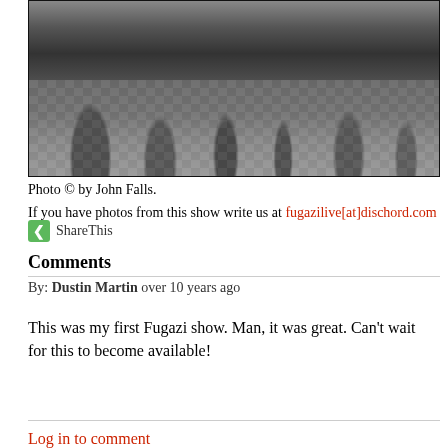[Figure (photo): Black and white photo showing the legs and feet of multiple people standing on a hexagonal brick/tile pavement, with a railing or wall visible in the background.]
Photo © by John Falls.
If you have photos from this show write us at fugazilive[at]dischord.com
ShareThis
Comments
By: Dustin Martin over 10 years ago
This was my first Fugazi show. Man, it was great. Can't wait for this to become available!
Log in to comment